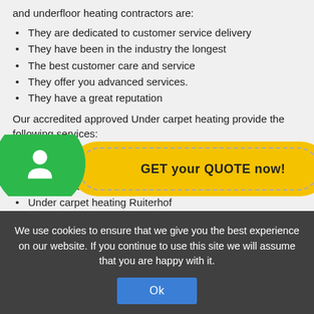and underfloor heating contractors are:
They are dedicated to customer service delivery
They have been in the industry the longest
The best customer care and service
They offer you advanced services.
They have a great reputation
Our accredited approved Under carpet heating provide the following services:
Best underfloor heating installer Ruiterhof
Underfloor heating system Ruiterhof
Home heating solutions Ruiterhof
Under carpet heating Ruiterhof
Underfloor heating price Ruiterhof
Underfloor heating Ruiterhof
[Figure (infographic): Green circle with phone/person icon on left, yellow rounded button with 'GET your QUOTE now!' text on right with dashed border]
We use cookies to ensure that we give you the best experience on our website. If you continue to use this site we will assume that you are happy with it.
Ok